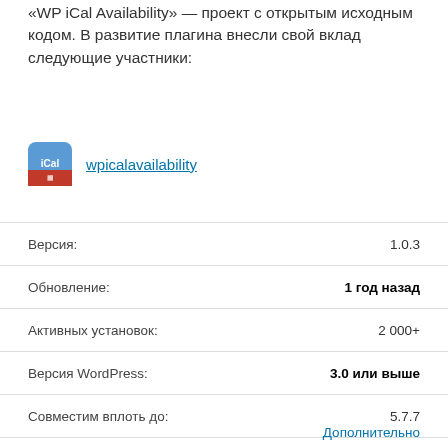«WP iCal Availability» — проект с открытым исходным кодом. В развитие плагина внесли свой вклад следующие участники:
[Figure (logo): WP iCal Availability plugin icon — blue square with iCal text and red calendar bottom]
wpicalavailability
| Поле | Значение |
| --- | --- |
| Версия: | 1.0.3 |
| Обновление: | 1 год назад |
| Активных установок: | 2 000+ |
| Версия WordPress: | 3.0 или выше |
| Совместим вплоть до: | 5.7.7 |
| Язык: | English (US) |
| Метки: | availability calendar  ical |
Дополнительно